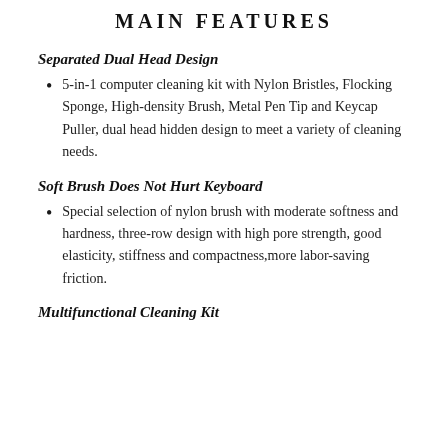MAIN FEATURES
Separated Dual Head Design
5-in-1 computer cleaning kit with Nylon Bristles, Flocking Sponge, High-density Brush, Metal Pen Tip and Keycap Puller, dual head hidden design to meet a variety of cleaning needs.
Soft Brush Does Not Hurt Keyboard
Special selection of nylon brush with moderate softness and hardness, three-row design with high pore strength, good elasticity, stiffness and compactness,more labor-saving friction.
Multifunctional Cleaning Kit